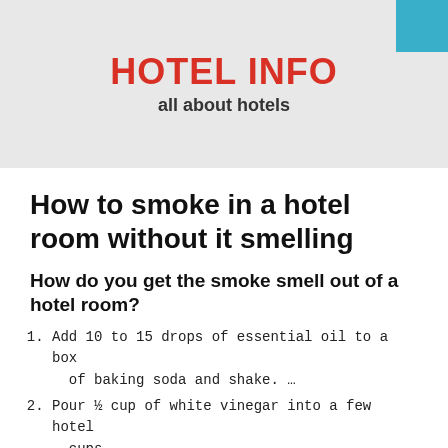HOTEL INFO
all about hotels
How to smoke in a hotel room without it smelling
How do you get the smoke smell out of a hotel room?
Add 10 to 15 drops of essential oil to a box of baking soda and shake. …
Pour ½ cup of white vinegar into a few hotel cups